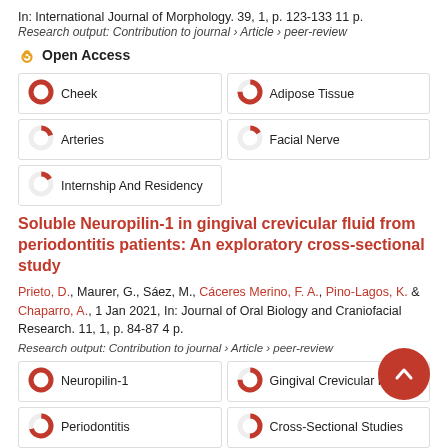In: International Journal of Morphology. 39, 1, p. 123-133 11 p.
Research output: Contribution to journal › Article › peer-review
Open Access
[Figure (infographic): Keyword badges with donut chart percentage indicators: Cheek (100%), Adipose Tissue (75%), Arteries (20%), Facial Nerve (16%), Internship And Residency (16%)]
Soluble Neuropilin-1 in gingival crevicular fluid from periodontitis patients: An exploratory cross-sectional study
Prieto, D., Maurer, G., Sáez, M., Cáceres Merino, F. A., Pino-Lagos, K. & Chaparro, A., 1 Jan 2021, In: Journal of Oral Biology and Craniofacial Research. 11, 1, p. 84-87 4 p.
Research output: Contribution to journal › Article › peer-review
[Figure (infographic): Keyword badges with donut chart percentage indicators: Neuropilin-1 (100%), Gingival Crevicular Flu... (75%), Periodontitis (70%), Cross-Sectional Studies (50%)]